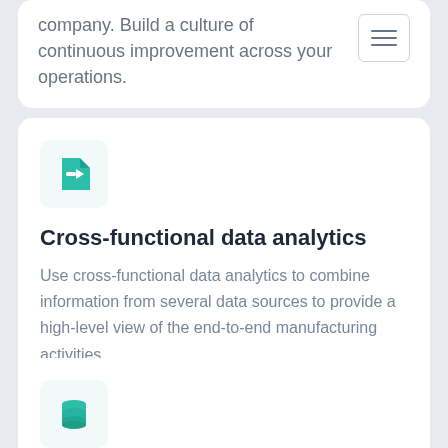company. Build a culture of continuous improvement across your operations.
[Figure (illustration): Hamburger menu icon: three horizontal lines inside a rounded rectangle border]
[Figure (illustration): Teal document/file import icon with arrow pointing right on white rounded square background]
Cross-functional data analytics
Use cross-functional data analytics to combine information from several data sources to provide a high-level view of the end-to-end manufacturing activities.
[Figure (illustration): Teal database/stacked cylinders icon on white rounded square background]
Production data